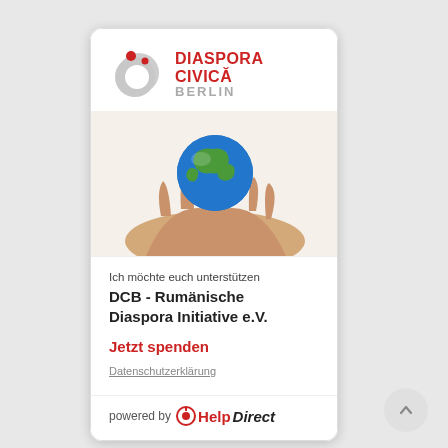[Figure (logo): Diaspora Civică Berlin logo with stylized globe icon and red/gray text]
[Figure (photo): A hand holding a globe/Earth]
Ich möchte euch unterstützen
DCB - Rumänische Diaspora Initiative e.V.
Jetzt spenden
Datenschutzerklärung
powered by HelpDirect